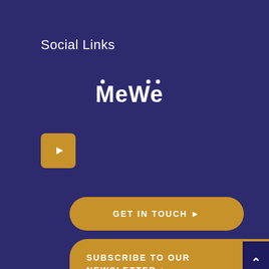Social Links
[Figure (logo): MeWe logo — white text on dark purple background]
[Figure (logo): YouTube icon button — golden/amber rounded square with white play button]
GET IN TOUCH ▶
SUBSCRIBE TO OUR NEWSLETTER ▶
About